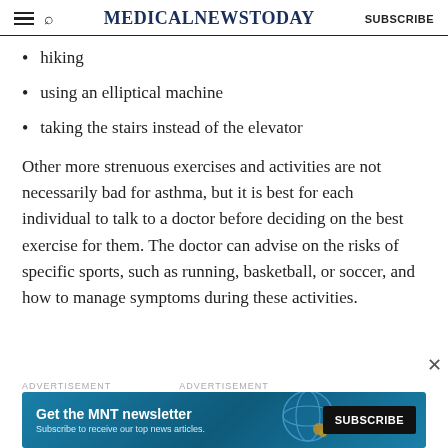MedicalNewsToday | SUBSCRIBE
hiking
using an elliptical machine
taking the stairs instead of the elevator
Other more strenuous exercises and activities are not necessarily bad for asthma, but it is best for each individual to talk to a doctor before deciding on the best exercise for them. The doctor can advise on the risks of specific sports, such as running, basketball, or soccer, and how to manage symptoms during these activities.
[Figure (infographic): MNT newsletter advertisement banner: 'Get the MNT newsletter. Subscribe to receive our top news articles.' with a SUBSCRIBE button on dark background and globe graphic.]